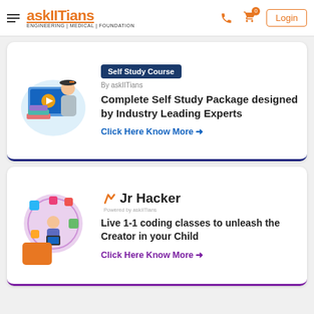askIITians ENGINEERING | MEDICAL | FOUNDATION — Login
[Figure (illustration): Student with graduation cap and online course screen illustration]
Self Study Course — By askIITians
Complete Self Study Package designed by Industry Leading Experts
Click Here Know More →
[Figure (illustration): Jr Hacker coding program illustration with child and colorful icons]
Jr Hacker Powered by askIITians
Live 1-1 coding classes to unleash the Creator in your Child
Click Here Know More →